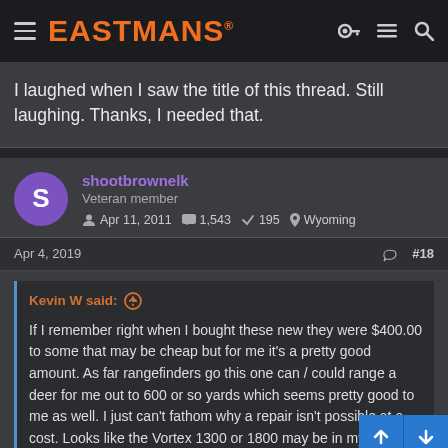EASTMANS
I laughed when I saw the title of this thread. Still laughing. Thanks, I needed that.
shootbrownelk
Veteran member
Apr 11, 2011  1,543  195  Wyoming
Apr 4, 2019  #18
Kevin W said:
If I remember right when I bought these new they were $400.00 to some that may be cheap but for me it's a pretty good amount. As far rangefinders go this one can / could range a deer for me out to 600 or so yards which seems pretty good to me as well. I just can't fathom why a repair isn't possible at a cost. Looks like the Vortex 1300 or 1800 may be in my future